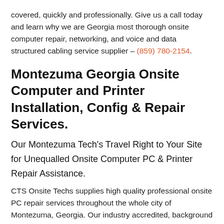covered, quickly and professionally. Give us a call today and learn why we are Georgia most thorough onsite computer repair, networking, and voice and data structured cabling service supplier – (859) 780-2154.
Montezuma Georgia Onsite Computer and Printer Installation, Config & Repair Services.
Our Montezuma Tech's Travel Right to Your Site for Unequalled Onsite Computer PC & Printer Repair Assistance.
CTS Onsite Techs supplies high quality professional onsite PC repair services throughout the whole city of Montezuma, Georgia. Our industry accredited, background checked onsite computer repair technicians are very experienced, are mobile throughout Montezuma, and travel right to your site to carry